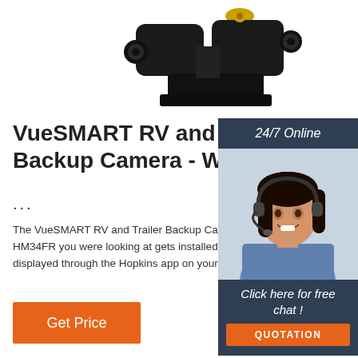[Figure (photo): Product photo of a black wireless backup camera mount hardware against white background]
VueSMART RV and Trailer Backup Camera - Wirele...
...
The VueSMART RV and Trailer Backup Camera - Wireless - Universal Mount - 152-Degree View - HM34FR you were looking at gets installed on the trailer to the running light circuit, and the image is displayed through the Hopkins app on your Android or IOS device.
[Figure (photo): Customer service agent photo - woman with headset smiling, with 24/7 Online badge and Click here for free chat! text and QUOTATION button on dark blue background]
Get Price